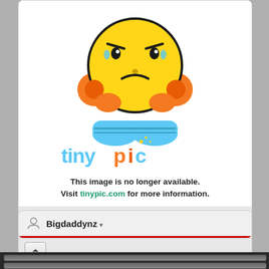[Figure (screenshot): Tinypic 'image no longer available' placeholder showing a worried yellow emoji character holding its face, with the tinypic.com logo below it in colorful lettering]
This image is no longer available.
Visit tinypic.com for more information.
ETE    ECoS iTrain
TouchCab C-Gleis German Era Id & IIIb USA Era IIIb SBB Era III SJ Era IV GC Era V
[Figure (other): Eject button icon]
Bigdaddynz ▾